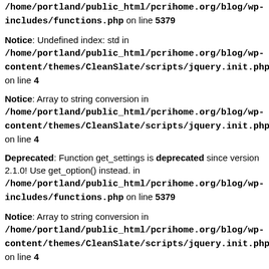/home/portland/public_html/pcrihome.org/blog/wp-includes/functions.php on line 5379
Notice: Undefined index: std in /home/portland/public_html/pcrihome.org/blog/wp-content/themes/CleanSlate/scripts/jquery.init.php on line 4
Notice: Array to string conversion in /home/portland/public_html/pcrihome.org/blog/wp-content/themes/CleanSlate/scripts/jquery.init.php on line 4
Deprecated: Function get_settings is deprecated since version 2.1.0! Use get_option() instead. in /home/portland/public_html/pcrihome.org/blog/wp-includes/functions.php on line 5379
Notice: Array to string conversion in /home/portland/public_html/pcrihome.org/blog/wp-content/themes/CleanSlate/scripts/jquery.init.php on line 4
Notice: Undefined index: id in /home/portland/public_html/pcrihome.org/blog/wp-content/themes/CleanSlate/scripts/jquery.init.php on line 4